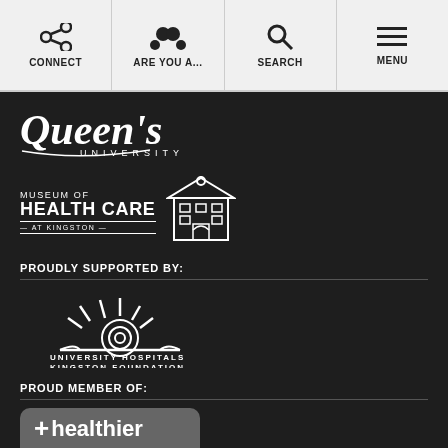CONNECT | ARE YOU A... | SEARCH | MENU
[Figure (logo): Queen's University white logo on dark background]
[Figure (logo): Museum of Health Care at Kingston logo with building icon, white on dark]
PROUDLY SUPPORTED BY:
[Figure (logo): University Hospitals Kingston Foundation logo - sun/spiral design, white on dark]
PROUD MEMBER OF:
[Figure (logo): Healthier Wealthier logo badge on grey rounded rectangle]